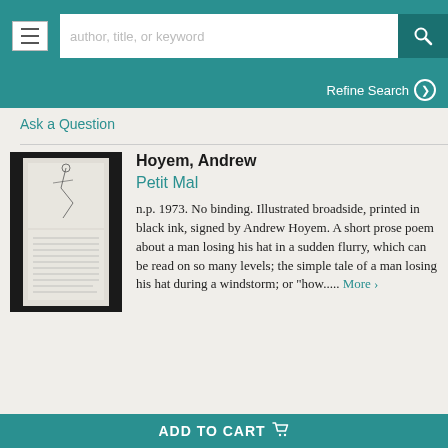author, title, or keyword | Refine Search
Ask a Question
[Figure (photo): Black-framed broadside showing a pen-and-ink illustration at the top and handwritten/printed text below on a light background]
Hoyem, Andrew
Petit Mal
n.p. 1973. No binding. Illustrated broadside, printed in black ink, signed by Andrew Hoyem. A short prose poem about a man losing his hat in a sudden flurry, which can be read on so many levels; the simple tale of a man losing his hat during a windstorm; or "how.....
More >
ADD TO CART